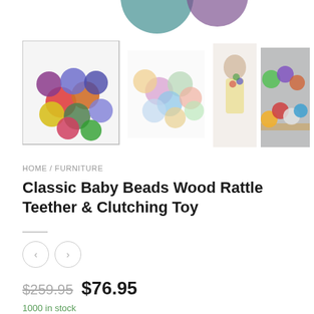[Figure (illustration): Partial view of two decorative circles (teal and purple) at the top of the page, cropped — part of a product image carousel]
[Figure (photo): Four product thumbnail images in a row: (1) colorful wooden beads cluster with a border/selected state, (2) pastel-colored beads cluster on white background, (3) baby/toddler chewing on colorful beads toy, (4) colorful balls on a wooden shelf background]
HOME / FURNITURE
Classic Baby Beads Wood Rattle Teether & Clutching Toy
< >
$259.95  $76.95
1000 in stock